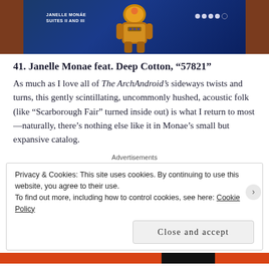[Figure (photo): Album cover image for Janelle Monae Suites II and III, showing a robotic figure in gold armor against a blue background, with a brown border framing the image strip.]
41. Janelle Monae feat. Deep Cotton, “57821”
As much as I love all of The ArchAndroid’s sideways twists and turns, this gently scintillating, uncommonly hushed, acoustic folk (like “Scarborough Fair” turned inside out) is what I return to most—naturally, there’s nothing else like it in Monae’s small but expansive catalog.
Advertisements
Privacy & Cookies: This site uses cookies. By continuing to use this website, you agree to their use.
To find out more, including how to control cookies, see here: Cookie Policy
Close and accept